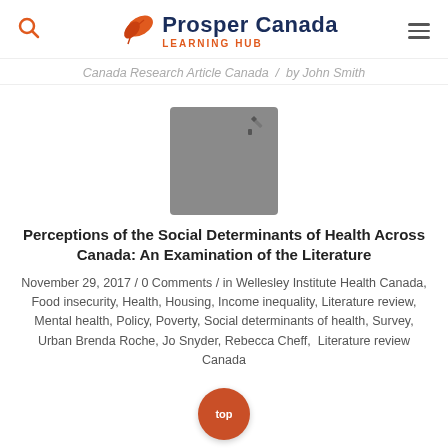Prosper Canada LEARNING HUB
Canada Research Article Canada / by John Smith
[Figure (illustration): Grey placeholder image with a pencil icon in the top-right corner]
Perceptions of the Social Determinants of Health Across Canada: An Examination of the Literature
November 29, 2017 / 0 Comments / in Wellesley Institute Health Canada, Food insecurity, Health, Housing, Income inequality, Literature review, Mental health, Policy, Poverty, Social determinants of health, Survey, Urban Brenda Roche, Jo Snyder, Rebecca Cheff, Literature review Canada